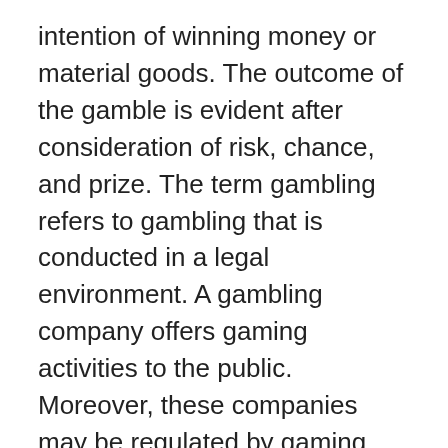intention of winning money or material goods. The outcome of the gamble is evident after consideration of risk, chance, and prize. The term gambling refers to gambling that is conducted in a legal environment. A gambling company offers gaming activities to the public. Moreover, these companies may be regulated by gaming control boards. In addition, it can be harmful to the health and well-being of an individual.
The prevalence of gambling is increasing worldwide. In 2009, the legal gambling industry was worth $335 billion. It is often practiced with materials that have value, such as marbles or dice. In games such as Magic: The Gathering, players stake game pieces. The outcome of this meta-game is that a player may be rewarded with a prize based on his or her collection.